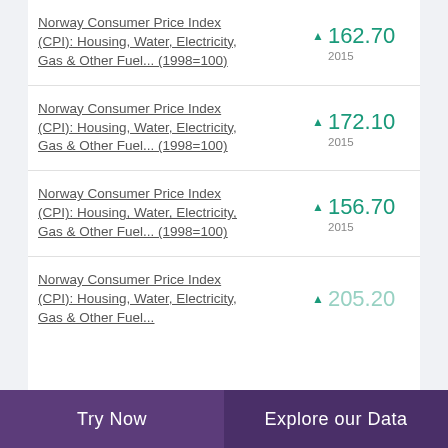Norway Consumer Price Index (CPI): Housing, Water, Electricity, Gas & Other Fuel... (1998=100)
Norway Consumer Price Index (CPI): Housing, Water, Electricity, Gas & Other Fuel... (1998=100)
Norway Consumer Price Index (CPI): Housing, Water, Electricity, Gas & Other Fuel... (1998=100)
Norway Consumer Price Index (CPI): Housing, Water, Electricity, Gas & Other Fuel... (1998=100)
Try Now | Explore our Data